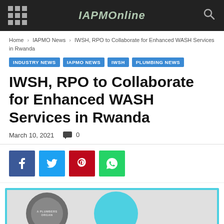IAPMOnline
Home › IAPMO News › IWSH, RPO to Collaborate for Enhanced WASH Services in Rwanda
INDUSTRY NEWS
IAPMO NEWS
IWSH
PLUMBING NEWS
IWSH, RPO to Collaborate for Enhanced WASH Services in Rwanda
March 10, 2021   0
[Figure (screenshot): Social share buttons: Facebook (blue), Twitter (light blue), Pinterest (red), WhatsApp (green)]
[Figure (photo): Partially visible image showing a plumbers organization seal/logo and a cyan circle, with a light blue border frame]